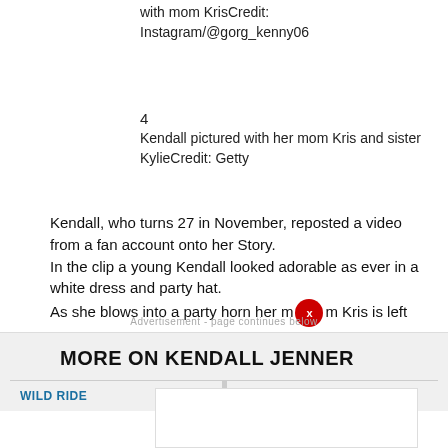with mom KrisCredit: Instagram/@gorg_kenny06
4
Kendall pictured with her mom Kris and sister KylieCredit: Getty
Kendall, who turns 27 in November, reposted a video from a fan account onto her Story.
In the clip a young Kendall looked adorable as ever in a white dress and party hat.
As she blows into a party horn her mum Kris is left giggling as it flew out of her mouth.
The momager wowed in a plain white t-shirt and a face of natural makeup.
MORE ON KENDALL JENNER
WILD RIDE
SIMON KENL